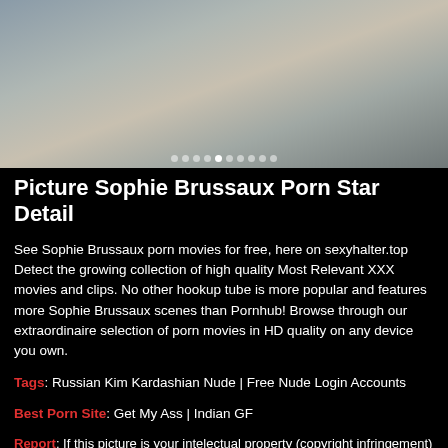[Figure (photo): A pregnant woman wearing a light blue sash and white wrap skirt, holding her belly. Background shows cupcakes on a display stand and other baby shower decorations. Slideshow dots visible at bottom of image.]
Picture Sophie Brussaux Porn Star Detail
See Sophie Brussaux porn movies for free, here on sexyhalter.top Detect the growing collection of high quality Most Relevant XXX movies and clips. No other hookup tube is more popular and features more Sophie Brussaux scenes than Pornhub! Browse through our extraordinaire selection of porn movies in HD quality on any device you own.
Tags: Russian Kim Kardashian Nude | Free Nude Login Accounts
Best Porn Site: Get My Ass | Indian GF
Report: If this picture is your intelectual property (copyright infringement) or chi@ld pornography / immature images, please send